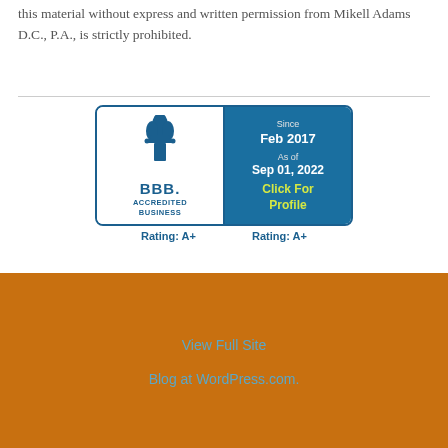this material without express and written permission from Mikell Adams D.C., P.A., is strictly prohibited.
[Figure (logo): BBB Accredited Business badge showing Rating A+ since Feb 2017, as of Sep 01, 2022. Click For Profile. Rating: A+ shown below both left and right panels.]
View Full Site
Blog at WordPress.com.